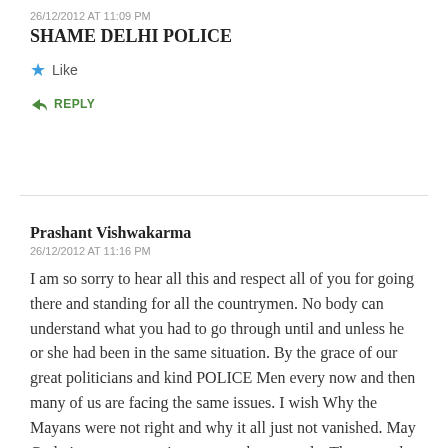26/12/2012 AT 11:09 PM
SHAME DELHI POLICE
★ Like
↳ REPLY
Prashant Vishwakarma
26/12/2012 AT 11:16 PM
I am so sorry to hear all this and respect all of you for going there and standing for all the countrymen. No body can understand what you had to go through until and unless he or she had been in the same situation. By the grace of our great politicians and kind POLICE Men every now and then many of us are facing the same issues. I wish Why the Mayans were not right and why it all just not vanished. May God give some consciousness to these people. These are the reasons how Naxalite and